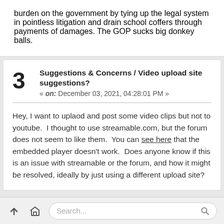burden on the government by tying up the legal system in pointless litigation and drain school coffers through payments of damages. The GOP sucks big donkey balls.
Suggestions & Concerns / Video upload site suggestions?
« on: December 03, 2021, 04:28:01 PM »
Hey, I want to uplaod and post some video clips but not to youtube.  I thought to use streamable.com, but the forum does not seem to like them.  You can see here that the embedded player doesn't work.  Does anyone know if this is an issue with streamable or the forum, and how it might be resolved, ideally by just using a different upload site?